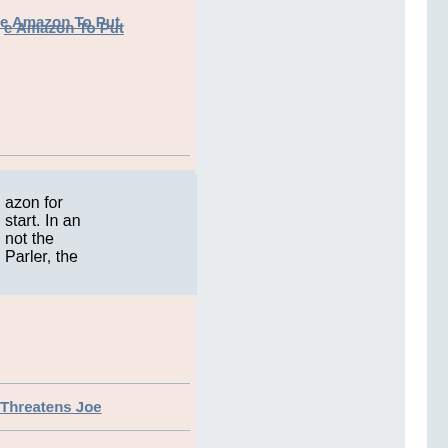e Amazon To Put
azon for start. In an not the Parler, the
Threatens Joe
the U.S.
d arrested, the Capitol his n kills the se, typically, r, apart those who s, he